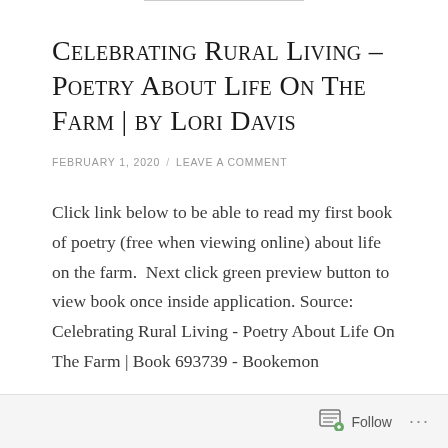Celebrating Rural Living – Poetry About Life On The Farm | by Lori Davis
FEBRUARY 1, 2020 / LEAVE A COMMENT
Click link below to be able to read my first book of poetry (free when viewing online) about life on the farm.  Next click green preview button to view book once inside application. Source: Celebrating Rural Living - Poetry About Life On The Farm | Book 693739 - Bookemon
Follow ...